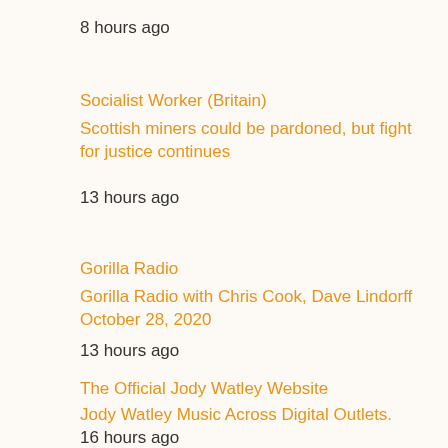8 hours ago
Socialist Worker (Britain)
Scottish miners could be pardoned, but fight for justice continues
13 hours ago
Gorilla Radio
Gorilla Radio with Chris Cook, Dave Lindorff October 28, 2020
13 hours ago
The Official Jody Watley Website
Jody Watley Music Across Digital Outlets.
16 hours ago